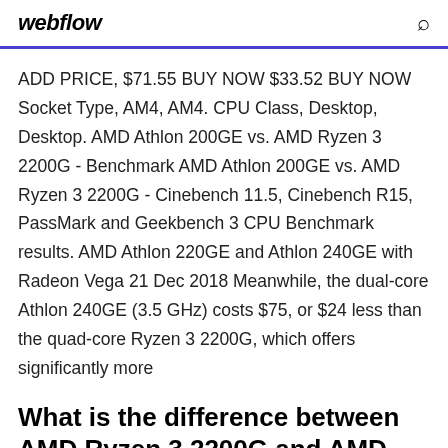webflow
ADD PRICE, $71.55 BUY NOW $33.52 BUY NOW Socket Type, AM4, AM4. CPU Class, Desktop, Desktop. AMD Athlon 200GE vs. AMD Ryzen 3 2200G - Benchmark AMD Athlon 200GE vs. AMD Ryzen 3 2200G - Cinebench 11.5, Cinebench R15, PassMark and Geekbench 3 CPU Benchmark results. AMD Athlon 220GE and Athlon 240GE with Radeon Vega 21 Dec 2018 Meanwhile, the dual-core Athlon 240GE (3.5 GHz) costs $75, or $24 less than the quad-core Ryzen 3 2200G, which offers significantly more
What is the difference between AMD Ryzen 3 2200G and AMD Athlon 200GE? Find out which is